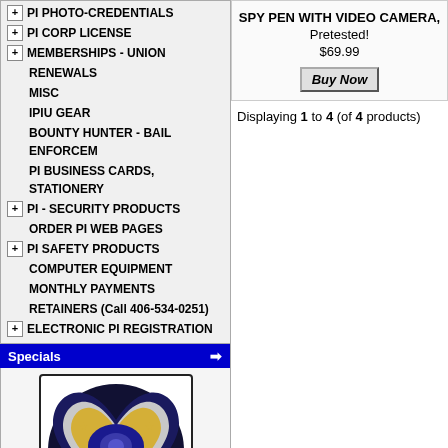PI PHOTO-CREDENTIALS
PI CORP LICENSE
MEMBERSHIPS - UNION
RENEWALS
MISC
IPIU GEAR
BOUNTY HUNTER - BAIL ENFORCEM
PI BUSINESS CARDS, STATIONERY
PI - SECURITY PRODUCTS
ORDER PI WEB PAGES
PI SAFETY PRODUCTS
COMPUTER EQUIPMENT
MONTHLY PAYMENTS
RETAINERS (Call 406-534-0251)
ELECTRONIC PI REGISTRATION
Specials
[Figure (photo): Heart-shaped PI badge with belt clip, silver and blue design with engraved number]
<b>#3a: PI BADGE BELT CLIP (Our Best Shield) PRE-ENGRAVED NUMBER
SPY PEN WITH VIDEO CAMERA, Pretested! $69.99
Displaying 1 to 4 (of 4 products)